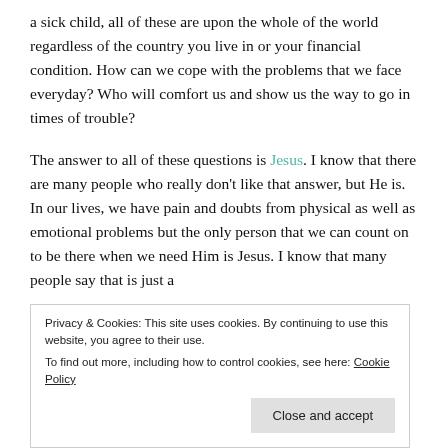a sick child, all of these are upon the whole of the world regardless of the country you live in or your financial condition. How can we cope with the problems that we face everyday? Who will comfort us and show us the way to go in times of trouble?
The answer to all of these questions is Jesus. I know that there are many people who really don't like that answer, but He is. In our lives, we have pain and doubts from physical as well as emotional problems but the only person that we can count on to be there when we need Him is Jesus. I know that many people say that is just a
Privacy & Cookies: This site uses cookies. By continuing to use this website, you agree to their use.
To find out more, including how to control cookies, see here: Cookie Policy
Close and accept